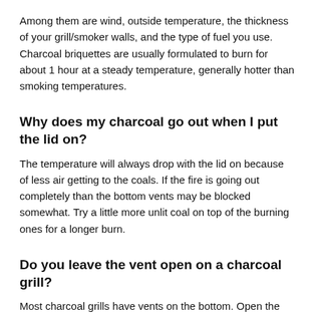Among them are wind, outside temperature, the thickness of your grill/smoker walls, and the type of fuel you use. Charcoal briquettes are usually formulated to burn for about 1 hour at a steady temperature, generally hotter than smoking temperatures.
Why does my charcoal go out when I put the lid on?
The temperature will always drop with the lid on because of less air getting to the coals. If the fire is going out completely than the bottom vents may be blocked somewhat. Try a little more unlit coal on top of the burning ones for a longer burn.
Do you leave the vent open on a charcoal grill?
Most charcoal grills have vents on the bottom. Open the vents wide and you get more air and thus a hotter fire.